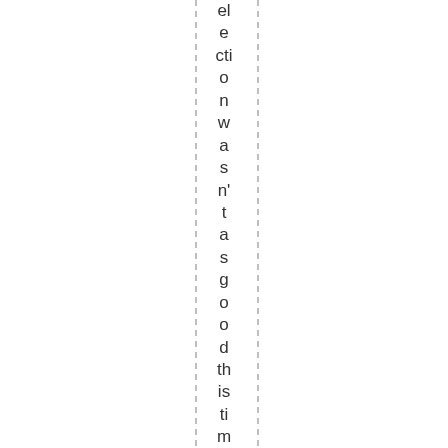election wasn't as good this time, but still probable